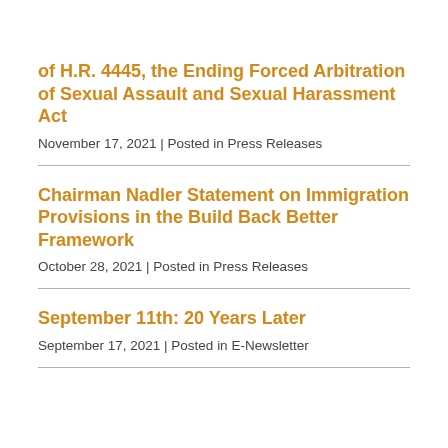of H.R. 4445, the Ending Forced Arbitration of Sexual Assault and Sexual Harassment Act
November 17, 2021 | Posted in Press Releases
Chairman Nadler Statement on Immigration Provisions in the Build Back Better Framework
October 28, 2021 | Posted in Press Releases
September 11th: 20 Years Later
September 17, 2021 | Posted in E-Newsletter